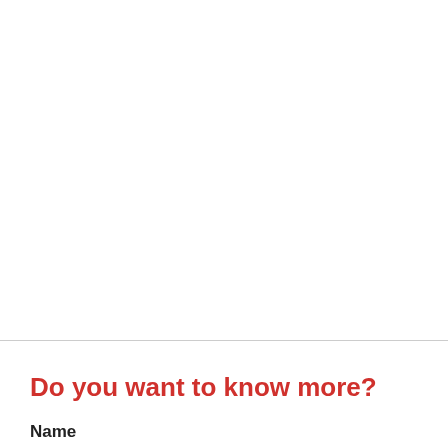Do you want to know more?
Name